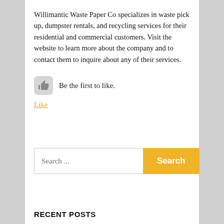Willimantic Waste Paper Co specializes in waste pick up, dumpster rentals, and recycling services for their residential and commercial customers. Visit the website to learn more about the company and to contact them to inquire about any of their services.
[Figure (illustration): Thumbs up icon button (grey rounded square with a hand/thumb pointing up) next to text 'Be the first to like.']
Like
[Figure (other): Search bar with placeholder text 'Search ...' and a yellow 'Search' button]
RECENT POSTS